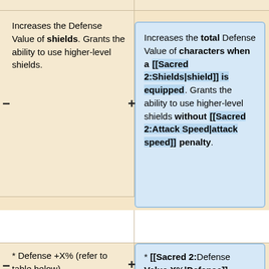Increases the Defense Value of shields. Grants the ability to use higher-level shields.
Increases the total Defense Value of characters when a [[Sacred 2:Shields|shield]] is equipped. Grants the ability to use higher-level shields without [[Sacred 2:Attack Speed|attack speed]] penalty.
* Defense +X% (refer to table below)
* [[Sacred 2:Defense Value X%|Defense]]